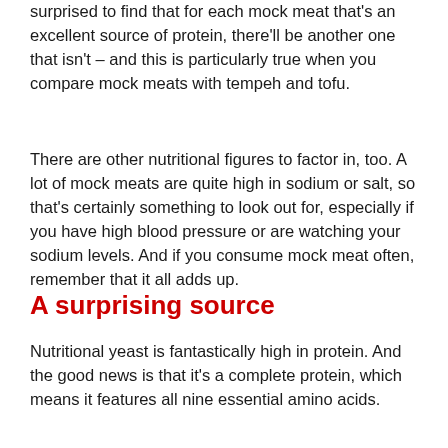surprised to find that for each mock meat that's an excellent source of protein, there'll be another one that isn't – and this is particularly true when you compare mock meats with tempeh and tofu.
There are other nutritional figures to factor in, too. A lot of mock meats are quite high in sodium or salt, so that's certainly something to look out for, especially if you have high blood pressure or are watching your sodium levels. And if you consume mock meat often, remember that it all adds up.
A surprising source
Nutritional yeast is fantastically high in protein. And the good news is that it's a complete protein, which means it features all nine essential amino acids.